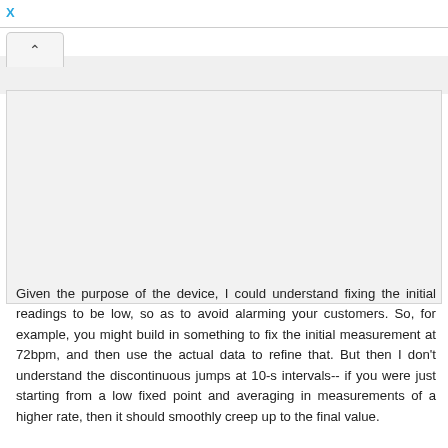X
[Figure (screenshot): A UI panel with an upward chevron tab button and a large gray empty content area]
Given the purpose of the device, I could understand fixing the initial readings to be low, so as to avoid alarming your customers. So, for example, you might build in something to fix the initial measurement at 72bpm, and then use the actual data to refine that. But then I don't understand the discontinuous jumps at 10-s intervals-- if you were just starting from a low fixed point and averaging in measurements of a higher rate, then it should smoothly creep up to the final value.